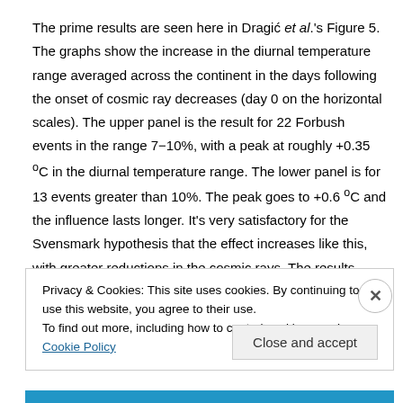The prime results are seen here in Dragić et al.'s Figure 5. The graphs show the increase in the diurnal temperature range averaged across the continent in the days following the onset of cosmic ray decreases (day 0 on the horizontal scales). The upper panel is the result for 22 Forbush events in the range 7−10%, with a peak at roughly +0.35 °C in the diurnal temperature range. The lower panel is for 13 events greater than 10%. The peak goes to +0.6 °C and the influence lasts longer. It's very satisfactory for the Svensmark hypothesis that the effect increases like this, with greater reductions in the cosmic rays. The results become hard (impossible?) to explain by any mechanism except an influence of
Privacy & Cookies: This site uses cookies. By continuing to use this website, you agree to their use.
To find out more, including how to control cookies, see here: Cookie Policy
Close and accept